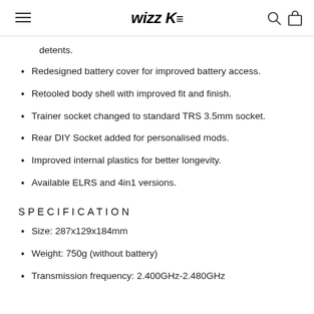wizz K≡
detents.
Redesigned battery cover for improved battery access.
Retooled body shell with improved fit and finish.
Trainer socket changed to standard TRS 3.5mm socket.
Rear DIY Socket added for personalised mods.
Improved internal plastics for better longevity.
Available ELRS and 4in1 versions.
SPECIFICATION
Size: 287x129x184mm
Weight: 750g (without battery)
Transmission frequency: 2.400GHz-2.480GHz